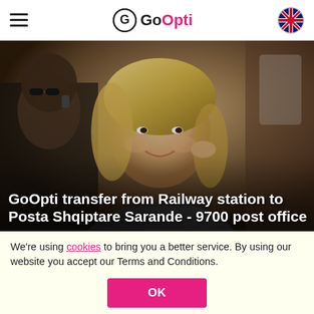GoOpti (navigation header with hamburger menu and UK flag language selector)
[Figure (photo): Woman with blonde hair sitting in a vehicle, smiling, holding her hand near her face. A man with sunglasses is visible in the background talking on a phone.]
GoOpti transfer from Railway station to Posta Shqiptare Sarande - 9700 post office
We're using cookies to bring you a better service. By using our website you accept our Terms and Conditions.
OK